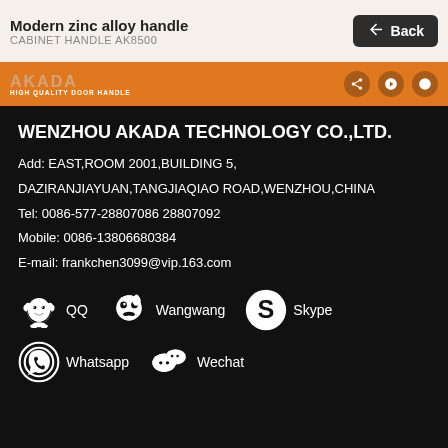Modern zinc alloy handle
CABINET HANDLE AK8500
[Figure (logo): AKADA High Quality Door Handle logo in orange bar with social media icons]
WENZHOU AKADA TECHNOLOGY CO.,LTD.
Add: EAST,ROOM 2001,BUILDING 5, DAZIRANJIAYUAN,TANGJIAQIAO ROAD,WENZHOU,CHINA
Tel: 0086-577-28807086 28807092
Mobile: 0086-13806680384
E-mail: frankchen3099@vip.163.com
[Figure (infographic): Social media icons: QQ, Wangwang, Skype, Whatsapp, Wechat with labels]